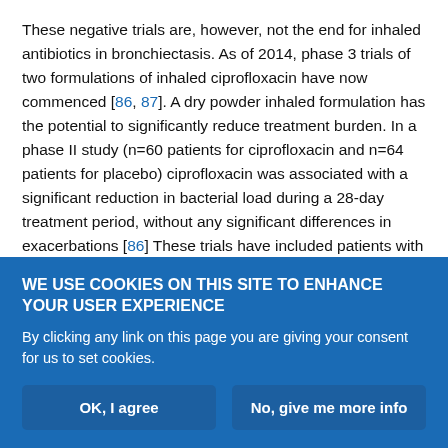These negative trials are, however, not the end for inhaled antibiotics in bronchiectasis. As of 2014, phase 3 trials of two formulations of inhaled ciprofloxacin have now commenced [86, 87]. A dry powder inhaled formulation has the potential to significantly reduce treatment burden. In a phase II study (n=60 patients for ciprofloxacin and n=64 patients for placebo) ciprofloxacin was associated with a significant reduction in bacterial load during a 28-day treatment period, without any significant differences in exacerbations [86] These trials have included patients with both P. aeruginosa and other bacteria, while most other trials have limited their indication to patients with chronic P. aeruginosa [86]. This is the case for the dual release liposomal
WE USE COOKIES ON THIS SITE TO ENHANCE YOUR USER EXPERIENCE
By clicking any link on this page you are giving your consent for us to set cookies.